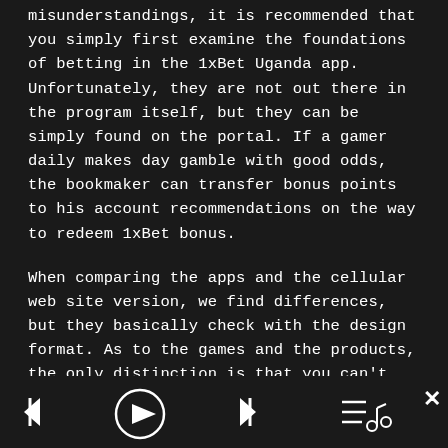misunderstandings, it is recommended that you simply first examine the foundations of betting in the 1xBet Uganda app. Unfortunately, they are not out there in the program itself, but they can be simply found on the portal. If a gamer daily makes day gamble with good odds, the bookmaker can transfer bonus points to his account recommendations on the way to redeem 1xBet bonus.
When comparing the apps and the cellular web site version, we find differences, but they basically check with the design format. As to the games and the products, the only distinction is that you can't play 1xGames casino games via the cell website version, while via apps you can access them faultlessly.
[Figure (other): Media player controls bar at bottom: previous track button, play button (circle with triangle), next track button, and queue/music note icon on the right. Close (X) button in top right of bar area.]